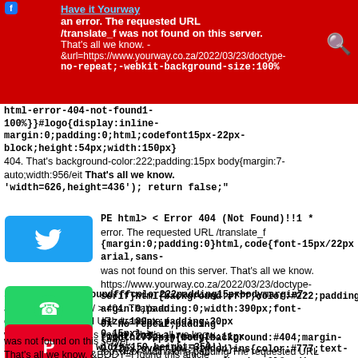an error. The requested URL /translate_f was not found on this server. That's all we know. - &url=https://www.yourway.co.za/2022/03/23/doctype-html-error-404-not-found1-100%}}#logo{display:inline-block;height:54px;width:150px}
404. Thats background-color:222;padding:15px body{margin:7-auto;width:956/eit That's all we know. 'width=626,height=436'); return false;"
title="Tweet This Post"> 404. That's an error. The requested URL /translate_f was not found on this server. That's all we know. https://www.yourway.co.za/2022/03/23/doctype-html-error{background:#fff;color:#222;padding:15px}body{margin:0;padding:0;width:390px;font-size:180px;padding:30px 0 15px}
serifhtmlbackgroundfffcolor222padding15pxbodymargin7-auto-0max-widt-956/ 404. That's an error. The requested URL /translate_f was not found on this server. pinterestShare, width=150,height=350'); background-url((www.google.com/images/errors/robot.png) no-repeat;padding-right:205px}p{margin:11px 0 22px;overflow:hidden}ins{color:#777;text-decoration:none}a img{border:0}@media screen and (width:772px){body{background:#404;margin-top:;max-width:none;padding-right:0}#logo{background:url(//www.google.com/images/branding no-repeat;margin-left:-5px}@media only screen and (min-resolution:192dpi)
404. That's an error. The requested URL was not found on this server. That's all we know. &BODY=I found this article interesting and thought of sharing it with you. Check it out.